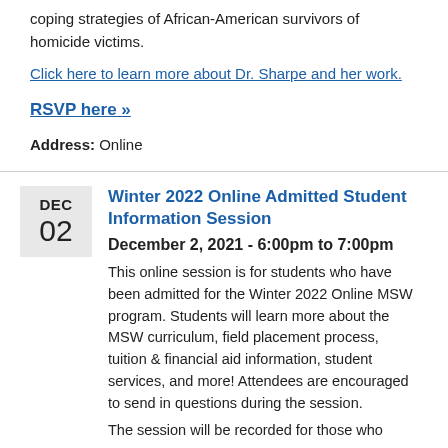coping strategies of African-American survivors of homicide victims.
Click here to learn more about Dr. Sharpe and her work.
RSVP here »
Address: Online
Winter 2022 Online Admitted Student Information Session
December 2, 2021 - 6:00pm to 7:00pm
This online session is for students who have been admitted for the Winter 2022 Online MSW program. Students will learn more about the MSW curriculum, field placement process, tuition & financial aid information, student services, and more! Attendees are encouraged to send in questions during the session.
The session will be recorded for those who